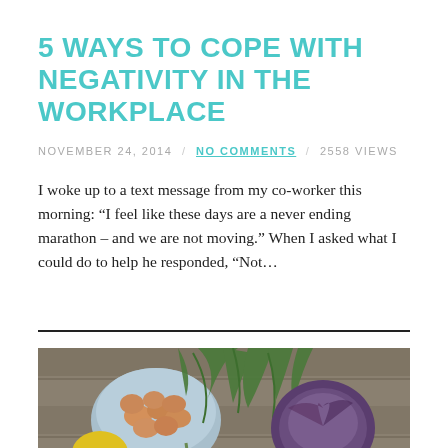5 WAYS TO COPE WITH NEGATIVITY IN THE WORKPLACE
NOVEMBER 24, 2014 / NO COMMENTS / 2558 VIEWS
I woke up to a text message from my co-worker this morning: “I feel like these days are a never ending marathon – and we are not moving.” When I asked what I could do to help he responded, “Not…
[Figure (photo): Overhead photo of fresh vegetables and eggs on a wooden surface, including eggs in a blue bowl, carrots, fennel, cabbage, garlic, lemons, and yellow squash.]